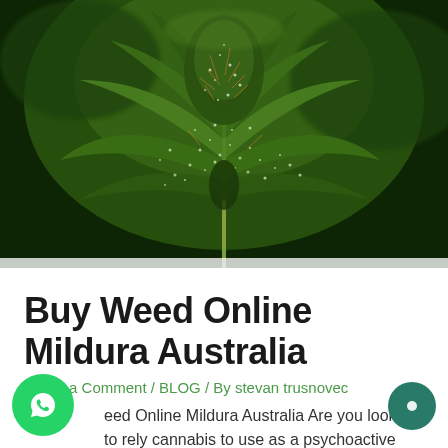[Figure (photo): Close-up macro photograph of a cannabis plant bud with visible trichomes (white crystalline structures) on dark green leaves with serrated edges, blurred dark background]
Buy Weed Online Mildura Australia
Leave a Comment / BLOG / By stevan trusnovec
eed Online Mildura Australia Are you looking to rely cannabis to use as a psychoactive drug or for medicinal